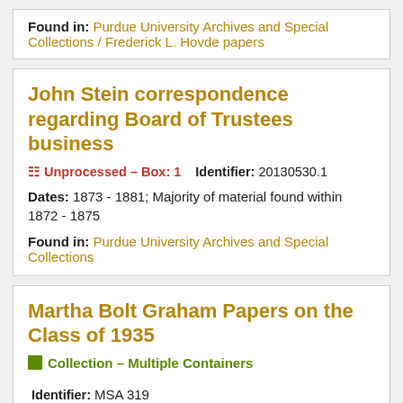Found in: Purdue University Archives and Special Collections / Frederick L. Hovde papers
John Stein correspondence regarding Board of Trustees business
Unprocessed – Box: 1    Identifier: 20130530.1
Dates: 1873 - 1881; Majority of material found within 1872 - 1875
Found in: Purdue University Archives and Special Collections
Martha Bolt Graham Papers on the Class of 1935
Collection – Multiple Containers
Identifier: MSA 319
Abstract Photographs, letters, correspondence, memoir relating to the Purdue Class of 1935, their anniversary celebrations (Gala Week), and